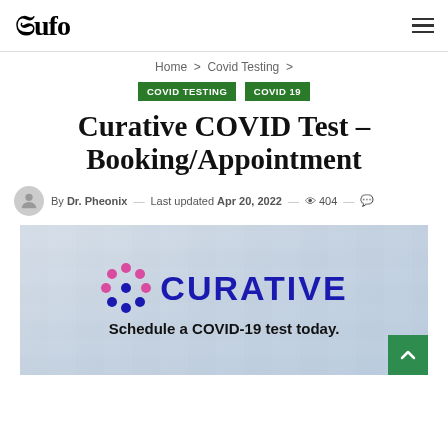Hufo [logo] — hamburger menu
Home > Covid Testing >
COVID TESTING  COVID 19
Curative COVID Test – Booking/Appointment
By Dr. Pheonix — Last updated Apr 20, 2022 — 404 —
[Figure (logo): Curative logo with dot-matrix icon in pink/blue and text 'CURATIVE' in dark blue, with tagline 'Schedule a COVID-19 test today.' on a light blue/grey background suggesting an outdoor testing site.]